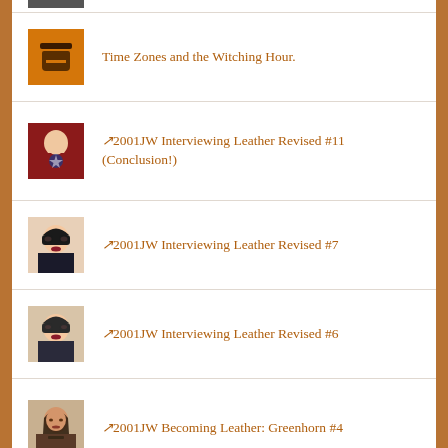Time Zones and the Witching Hour.
↗️2001JW Interviewing Leather Revised #11 (Conclusion!)
↗️2001JW Interviewing Leather Revised #7
↗️2001JW Interviewing Leather Revised #6
↗️2001JW Becoming Leather: Greenhorn #4